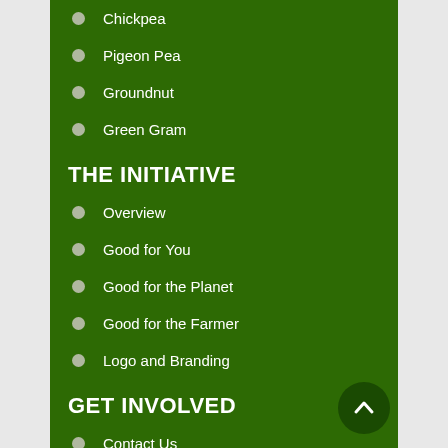Chickpea
Pigeon Pea
Groundnut
Green Gram
THE INITIATIVE
Overview
Good for You
Good for the Planet
Good for the Farmer
Logo and Branding
GET INVOLVED
Contact Us